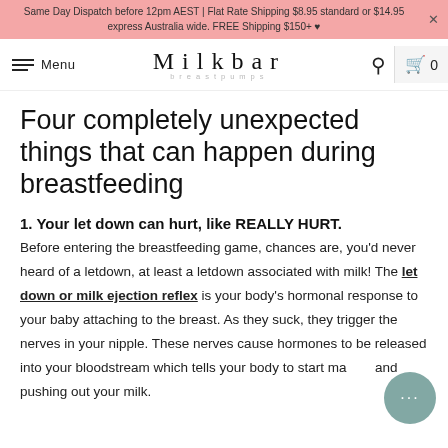Same Day Dispatch before 12pm AEST | Flat Rate Shipping $8.95 standard or $14.95 express Australia wide. FREE Shipping $150+ ♥
Milkbar breastpumps — Menu | Search | Bag 0
Four completely unexpected things that can happen during breastfeeding
1. Your let down can hurt, like REALLY HURT.
Before entering the breastfeeding game, chances are, you'd never heard of a letdown, at least a letdown associated with milk! The let down or milk ejection reflex is your body's hormonal response to your baby attaching to the breast. As they suck, they trigger the nerves in your nipple. These nerves cause hormones to be released into your bloodstream which tells your body to start making and pushing out your milk.